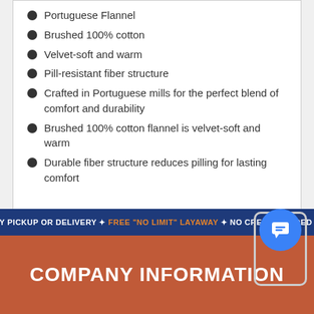Portuguese Flannel
Brushed 100% cotton
Velvet-soft and warm
Pill-resistant fiber structure
Crafted in Portuguese mills for the perfect blend of comfort and durability
Brushed 100% cotton flannel is velvet-soft and warm
Durable fiber structure reduces pilling for lasting comfort
SAME DAY PICKUP OR DELIVERY ✦ FREE "NO LIMIT" LAYAWAY ✦ NO CREDIT NEEDED OPTIONS
COMPANY INFORMATION